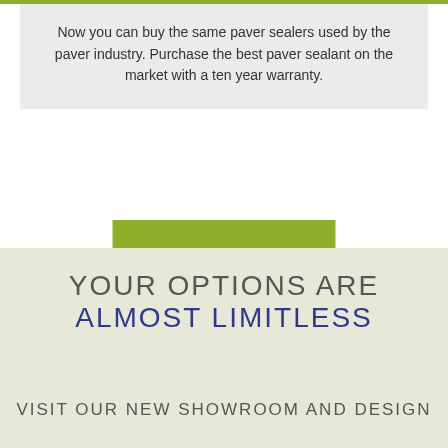Now you can buy the same paver sealers used by the paver industry. Purchase the best paver sealant on the market with a ten year warranty.
[Figure (other): Green 'MORE INFO' button]
YOUR OPTIONS ARE ALMOST LIMITLESS
VISIT OUR NEW SHOWROOM AND DESIGN